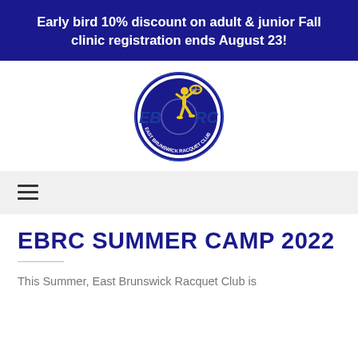Early bird 10% discount on adult & junior Fall clinic registration ends August 23!
[Figure (logo): EBRC (East Brunswick Racquet Club) logo — circular blue badge with yellow tennis player silhouette and 'EB RC' text in blue letters]
[Figure (other): Hamburger menu icon (three horizontal lines)]
EBRC SUMMER CAMP 2022
This Summer, East Brunswick Racquet Club is